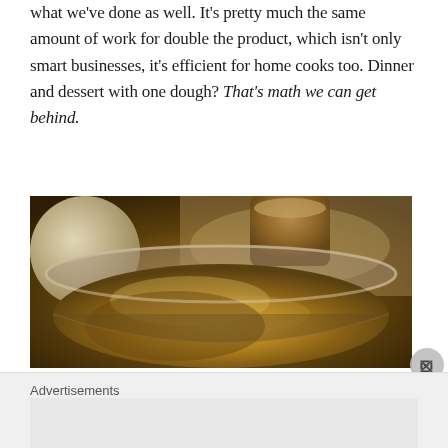what we've done as well. It's pretty much the same amount of work for double the product, which isn't only smart businesses, it's efficient for home cooks too. Dinner and dessert with one dough? That's math we can get behind.
[Figure (photo): Close-up photo of a round glass or metal bowl filled with brown granulated sugar or a similar brown powdery mixture, with dough and other baking ingredients visible in the background on a floured surface.]
Advertisements